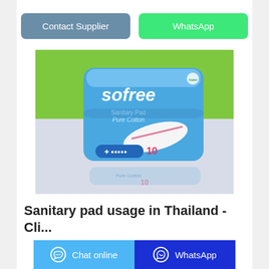[Figure (other): Two buttons: 'Contact Supplier' (steel blue) and 'WhatsApp' (green)]
[Figure (photo): Product photo of Sofree Sanitary Pad Pure Cotton pack of 10, blue packaging, on a table with green background, reflection visible below]
Sanitary pad usage in Thailand - Cli...
[Figure (screenshot): Bottom bar with 'Chat online' button (light blue) and 'WhatsApp' button (dark blue)]